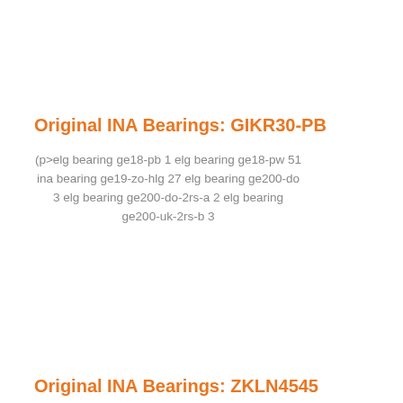Original INA Bearings: GIKR30-PB
(p>elg bearing ge18-pb 1 elg bearing ge18-pw 51 ina bearing ge19-zo-hlg 27 elg bearing ge200-do 3 elg bearing ge200-do-2rs-a 2 elg bearing ge200-uk-2rs-b 3
Original INA Bearings: ZKLN4545...